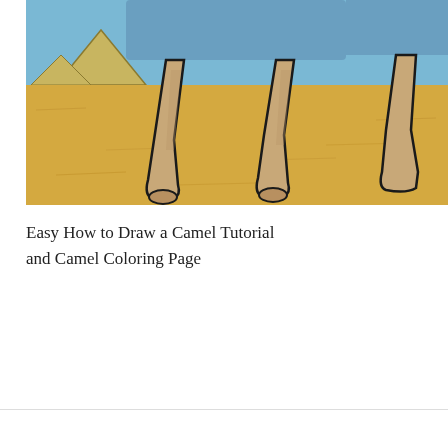[Figure (illustration): Close-up colored illustration of camel legs on sandy desert ground with blue sky and pyramids in the background. The camel legs are tan/brown with black outlines, the sand is golden yellow, and the sky is blue.]
Easy How to Draw a Camel Tutorial and Camel Coloring Page